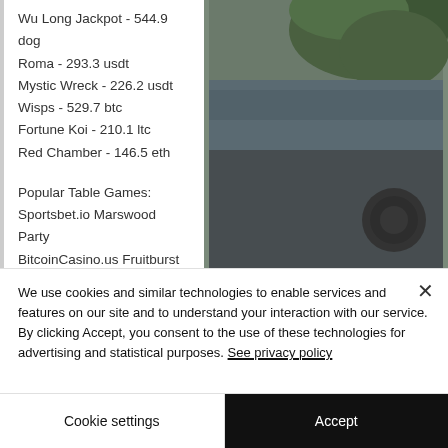Wu Long Jackpot - 544.9 dog
Roma - 293.3 usdt
Mystic Wreck - 226.2 usdt
Wisps - 529.7 btc
Fortune Koi - 210.1 ltc
Red Chamber - 146.5 eth
Popular Table Games:
Sportsbet.io Marswood Party
BitcoinCasino.us Fruitburst
[Figure (photo): Partial photo of a dark vehicle interior or exterior with green foliage visible, partially obscured]
We use cookies and similar technologies to enable services and features on our site and to understand your interaction with our service.
By clicking Accept, you consent to the use of these technologies for advertising and statistical purposes. See privacy policy